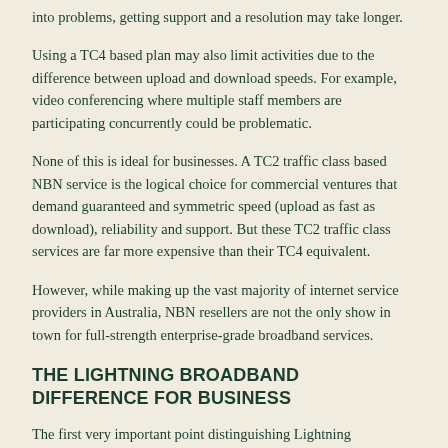into problems, getting support and a resolution may take longer.
Using a TC4 based plan may also limit activities due to the difference between upload and download speeds. For example, video conferencing where multiple staff members are participating concurrently could be problematic.
None of this is ideal for businesses. A TC2 traffic class based NBN service is the logical choice for commercial ventures that demand guaranteed and symmetric speed (upload as fast as download), reliability and support. But these TC2 traffic class services are far more expensive than their TC4 equivalent.
However, while making up the vast majority of internet service providers in Australia, NBN resellers are not the only show in town for full-strength enterprise-grade broadband services.
THE LIGHTNING BROADBAND DIFFERENCE FOR BUSINESS
The first very important point distinguishing Lightning Broadband's business internet services from all NBN resellers is we're not part of the NBN. We have our own low-latency direct fibre and hybrid 5G wireless + fibre broadband technology infrastructure. Because with our own network—unlike NBN resellers—